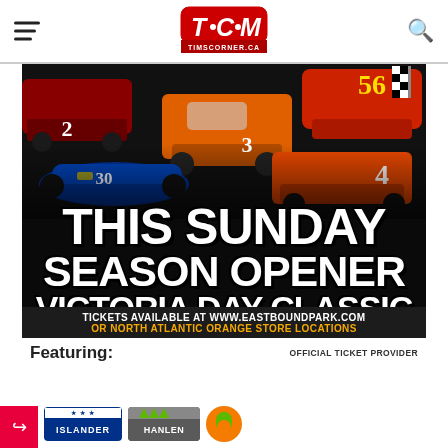TCM TIMSCORNER.CA
[Figure (photo): Racing cars collage promotional poster for Victoria Day Classic event at Eastbound Park. Multiple racing cars including stock cars numbered 2, 3, 4, 30, 56. Dark background with checkered flag.]
THIS SUNDAY
SEASON OPENER
VICTORIA DAY CLASSIC
GATES AT 1PM - GREEN FLAG 2PM
TICKETS AVAILABLE AT WWW.EASTBOUNDPARK.COM
OR NORTH ATLANTIC ORANGE STORE LOCATIONS
Featuring:
OFFICIAL TICKET PROVIDER
[Figure (logo): ISLANDER logo]
[Figure (logo): HANLEN logo]
[Figure (logo): North Atlantic orange circle logo]